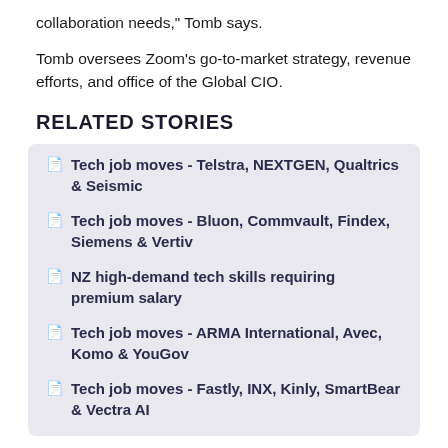collaboration needs," Tomb says.
Tomb oversees Zoom's go-to-market strategy, revenue efforts, and office of the Global CIO.
RELATED STORIES
Tech job moves - Telstra, NEXTGEN, Qualtrics & Seismic
Tech job moves - Bluon, Commvault, Findex, Siemens & Vertiv
NZ high-demand tech skills requiring premium salary
Tech job moves - ARMA International, Avec, Komo & YouGov
Tech job moves - Fastly, INX, Kinly, SmartBear & Vectra AI